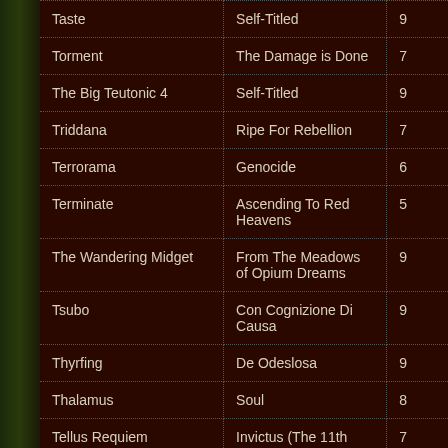| Band | Album | Score |
| --- | --- | --- |
| Taste | Self-Titled | 9 |
| Torment | The Damage is Done | 7 |
| The Big Teutonic 4 | Self-Titled | 9 |
| Triddana | Ripe For Rebellion | 7 |
| Terrorama | Genocide | 6 |
| Terminate | Ascending To Red Heavens | 5 |
| The Wandering Midget | From The Meadows of Opium Dreams | 9 |
| Tsubo | Con Cognizione Di Causa | 9 |
| Thyrfing | De Odeslosa | 9 |
| Thalamus | Soul | 8 |
| Tellus Requiem | Invictus (The 11th | 7 |